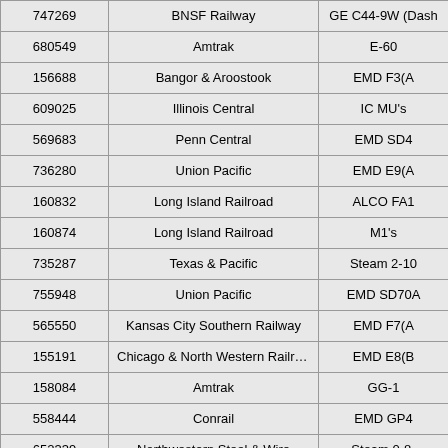| ID | Railroad | Equipment |
| --- | --- | --- |
| 747269 | BNSF Railway | GE C44-9W (Dash |
| 680549 | Amtrak | E-60 |
| 156688 | Bangor & Aroostook | EMD F3(A |
| 609025 | Illinois Central | IC MU's |
| 569683 | Penn Central | EMD SD4 |
| 736280 | Union Pacific | EMD E9(A |
| 160832 | Long Island Railroad | ALCO FA1 |
| 160874 | Long Island Railroad | M1's |
| 735287 | Texas & Pacific | Steam 2-10 |
| 755948 | Union Pacific | EMD SD70A |
| 565550 | Kansas City Southern Railway | EMD F7(A |
| 155191 | Chicago & North Western Railroad | EMD E8(B |
| 158084 | Amtrak | GG-1 |
| 558444 | Conrail | EMD GP4 |
| 652339 | Northwestern Steel & Wire | Steam 0-8- |
| 739766 | Amtrak | GG-1 |
| 732199 | Iowa Interstate Railroad | MLW M420 |
| 580407 | Penn Central | EMD SD4 |
| 555137 | Conrail | EMD GP8 |
| 605363 | Union Pacific | Steam 4-6-6 |
| 558578 | Long Island Railroad | Alco C420 |